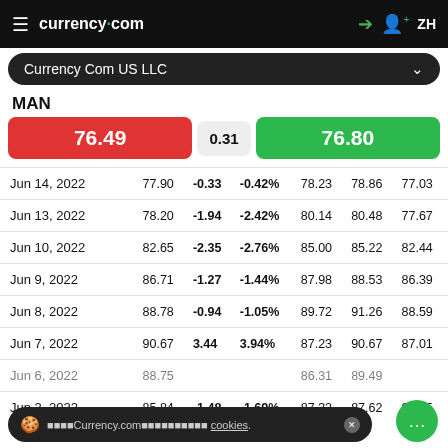currency.com  ZH
Currency Com US LLC
MAN
| BID | SPREAD | ASK |
| --- | --- | --- |
| 76.49 | 0.31 | 76.80 |
| Date | Price | Change | Change% | Open | High | Low |
| --- | --- | --- | --- | --- | --- | --- |
| Jun 14, 2022 | 77.90 | -0.33 | -0.42% | 78.23 | 78.86 | 77.03 |
| Jun 13, 2022 | 78.20 | -1.94 | -2.42% | 80.14 | 80.48 | 77.67 |
| Jun 10, 2022 | 82.65 | -2.35 | -2.76% | 85.00 | 85.22 | 82.44 |
| Jun 9, 2022 | 86.71 | -1.27 | -1.44% | 87.98 | 88.53 | 86.39 |
| Jun 8, 2022 | 88.78 | -0.94 | -1.05% | 89.72 | 91.26 | 88.59 |
| Jun 7, 2022 | 90.67 | 3.44 | 3.94% | 87.23 | 90.67 | 87.01 |
| Jun 6, 2022 | 88.75 |  |  | 86.31 | 89.49 |  |
| Jun 3, 2022 | 85.84 | -1.48 | -1.69% | 87.32 | 87.62 | 85.55 |
Currency.com cookies.